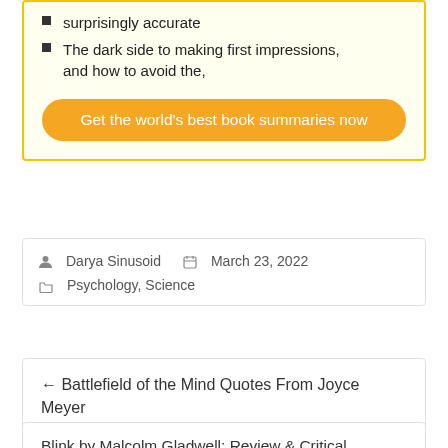surprisingly accurate
The dark side to making first impressions, and how to avoid the,
Get the world's best book summaries now
Darya Sinusoid   March 23, 2022
Psychology, Science
← Battlefield of the Mind Quotes From Joyce Meyer
Blink by Malcolm Gladwell: Review & Critical